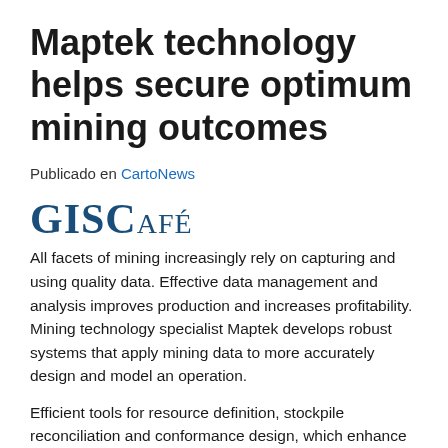Maptek technology helps secure optimum mining outcomes
Publicado en CartoNews
[Figure (logo): GISCafé logo in bold dark blue serif text]
All facets of mining increasingly rely on capturing and using quality data. Effective data management and analysis improves production and increases profitability. Mining technology specialist Maptek develops robust systems that apply mining data to more accurately design and model an operation.
Efficient tools for resource definition, stockpile reconciliation and conformance design, which enhance operational safety and productivity will be on show at Maptek Booth 1221 at SME[1] this week in Phoenix, Arizona.
'Controlling expenditure remains a top priority. Many operations have been monitoring and collecting data, some for decades, and